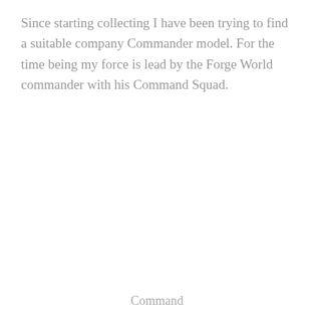Since starting collecting I have been trying to find a suitable company Commander model. For the time being my force is lead by the Forge World commander with his Command Squad.
Command